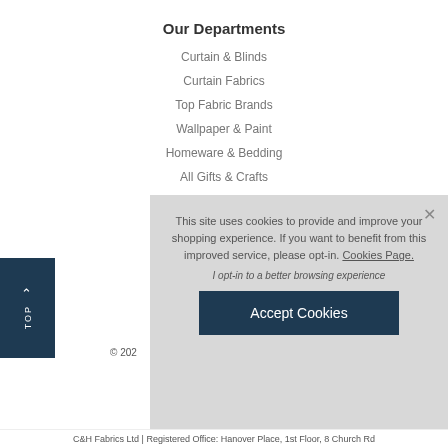Our Departments
Curtain & Blinds
Curtain Fabrics
Top Fabric Brands
Wallpaper & Paint
Homeware & Bedding
All Gifts & Crafts
This site uses cookies to provide and improve your shopping experience. If you want to benefit from this improved service, please opt-in. Cookies Page.
I opt-in to a better browsing experience
Accept Cookies
© 202
TOP
C&H Fabrics Ltd | Registered Office: Hanover Place, 1st Floor, 8 Church Rd